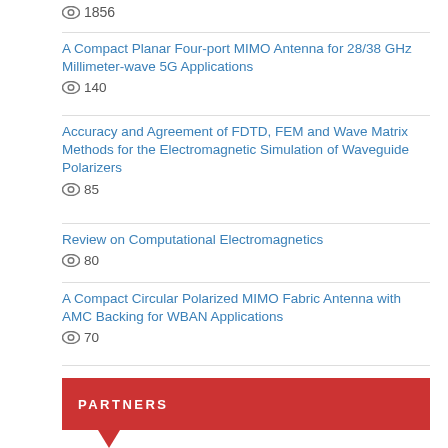1856
A Compact Planar Four-port MIMO Antenna for 28/38 GHz Millimeter-wave 5G Applications
140
Accuracy and Agreement of FDTD, FEM and Wave Matrix Methods for the Electromagnetic Simulation of Waveguide Polarizers
85
Review on Computational Electromagnetics
80
A Compact Circular Polarized MIMO Fabric Antenna with AMC Backing for WBAN Applications
70
PARTNERS